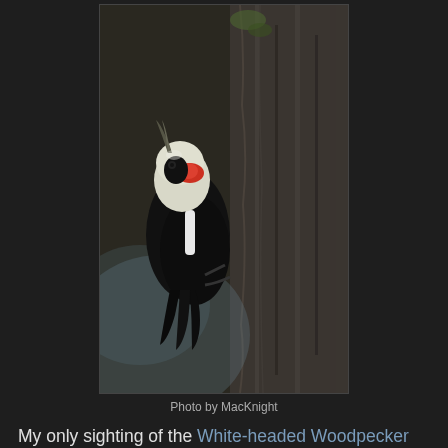[Figure (photo): A White-headed Woodpecker clinging to the side of a tree trunk. The bird has a black body, white head, and red patch. The background is a dark, blurred forest setting.]
Photo by MacKnight
My only sighting of the White-headed Woodpecker was in my campsite on a trip to Malhuer this last summer.  Idlewild Campground is a great spot in the Malhuer National Forest to include on your trips to the Malhuer National Wildlife Refuge.
Northern Flicker
[Figure (photo): Partial view of a Northern Flicker bird photo, showing mostly blurred brown/tan plumage at the bottom of the page.]